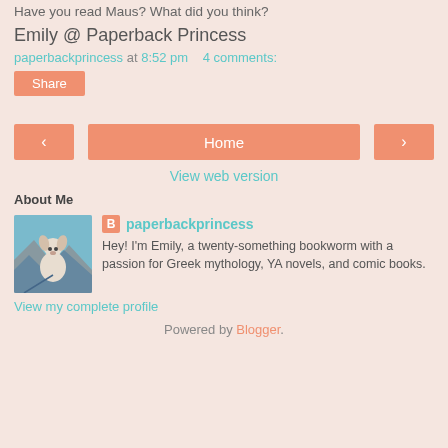Have you read Maus? What did you think?
Emily @ Paperback Princess
paperbackprincess at 8:52 pm   4 comments:
Share
Home
View web version
About Me
[Figure (photo): Profile photo of a dog on a mountain landscape]
paperbackprincess
Hey! I'm Emily, a twenty-something bookworm with a passion for Greek mythology, YA novels, and comic books.
View my complete profile
Powered by Blogger.